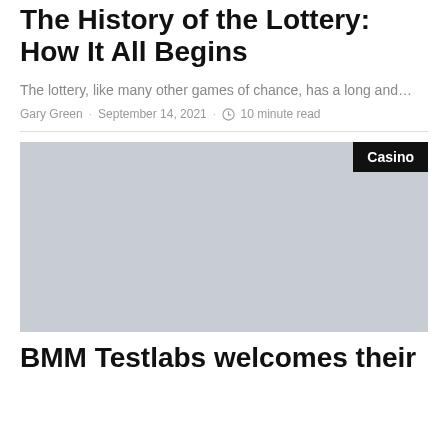The History of the Lottery: How It All Begins
The lottery, like many other games of chance, has a long and…
Gary Green · September 14, 2021 · 🕐 10 minute read
[Figure (photo): Placeholder image with light gray background and Casino category badge in top-right corner]
BMM Testlabs welcomes their